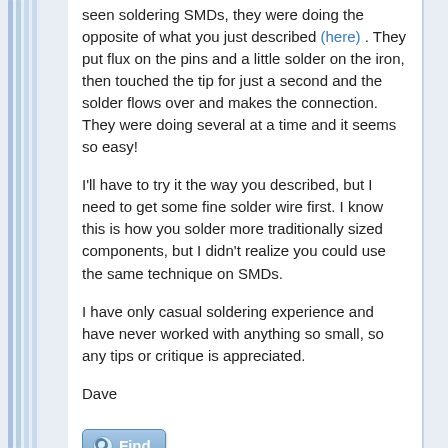seen soldering SMDs, they were doing the opposite of what you just described (here) . They put flux on the pins and a little solder on the iron, then touched the tip for just a second and the solder flows over and makes the connection. They were doing several at a time and it seems so easy!
I'll have to try it the way you described, but I need to get some fine solder wire first. I know this is how you solder more traditionally sized components, but I didn't realize you could use the same technique on SMDs.
I have only casual soldering experience and have never worked with anything so small, so any tips or critique is appreciated.
Dave
Find
Vieira, Luiz C. (Brazil)